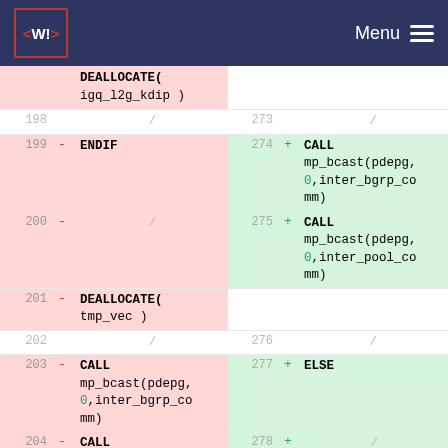<W!> Menu
| line- | mark | code-left | line+ | mark | code-right |
| --- | --- | --- | --- | --- | --- |
|  |  | DEALLOCATE(
igq_l2g_kdip ) |  |  |  |
| 198 |  | / | 273 |  | / |
| 199 | - | ENDIF | 274 | + | CALL mp_bcast(pdepg,0,inter_bgrp_comm) |
| 200 | - | / | 275 | + | CALL mp_bcast(pdepg,0,inter_pool_comm) |
| 201 | - | DEALLOCATE(
tmp_vec ) |  |  |  |
| 202 |  | / | 276 |  | / |
| 203 | - | CALL mp_bcast(pdepg,0,inter_bgrp_comm) | 277 | + | ELSE |
| 204 | - | CALL | 278 | + | / |